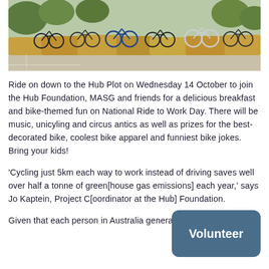[Figure (photo): Outdoor photo of many bicycles parked against hay bales in a parking area, with trees and buildings in the background.]
Ride on down to the Hub Plot on Wednesday 14 October to join the Hub Foundation, MASG and friends for a delicious breakfast and bike-themed fun on National Ride to Work Day. There will be music, unicyling and circus antics as well as prizes for the best-decorated bike, coolest bike apparel and funniest bike jokes. Bring your kids!
'Cycling just 5km each way to work instead of driving saves well over half a tonne of green[house gas emissions] each year,' says Jo Kaptein, Project C[oordinator at the Hub] Foundation.
Given that each person in Australia generates around 17...
[Figure (other): Volunteer button — a rounded rectangle with dark blue-grey background and white text reading 'Volunteer'.]